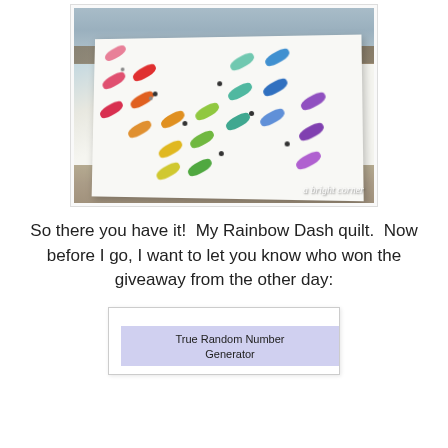[Figure (photo): A colorful Rainbow Dash quilt draped over a wooden bench outdoors. The white quilt features elongated oval/dash shapes in rainbow colors arranged in a grid pattern with small dark dots at intersections. A watermark reads 'a bright corner' in the bottom right.]
So there you have it!  My Rainbow Dash quilt.  Now before I go, I want to let you know who won the giveaway from the other day:
[Figure (screenshot): A partial screenshot showing a 'True Random Number Generator' interface with a purple/lavender header banner.]